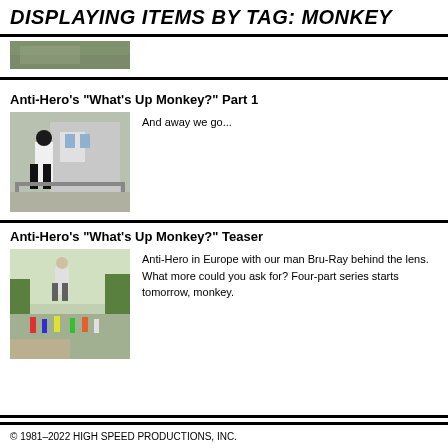DISPLAYING ITEMS BY TAG: MONKEY
[Figure (photo): Partial thumbnail image of outdoor scene, cropped at top]
Anti-Hero's "What's Up Monkey?" Part 1
[Figure (photo): Skateboarder performing a trick on a rail near a building]
And away we go...
Anti-Hero's "What's Up Monkey?" Teaser
[Figure (photo): Skateboarder in mid-air at an outdoor spot with children in background]
Anti-Hero in Europe with our man Bru-Ray behind the lens. What more could you ask for? Four-part series starts tomorrow, monkey.
© 1981–2022 HIGH SPEED PRODUCTIONS, INC.